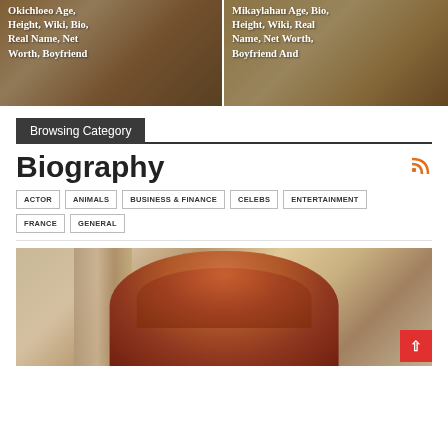[Figure (photo): Card image left: person with text overlay 'Okichloeo Age, Height, Wiki, Bio, Real Name, Net Worth, Boyfriend']
[Figure (photo): Card image right: person with text overlay 'Mikaylahau Age, Bio, Height, Wiki, Real Name, Net Worth, Boyfriend And']
Browsing Category
Biography
ACTOR
ANIMALS
BUSINESS & FINANCE
CELEBS
ENTERTAINMENT
FRANCE
GENERAL
[Figure (photo): A person with red/auburn hair photographed outdoors with a stone/brick background]